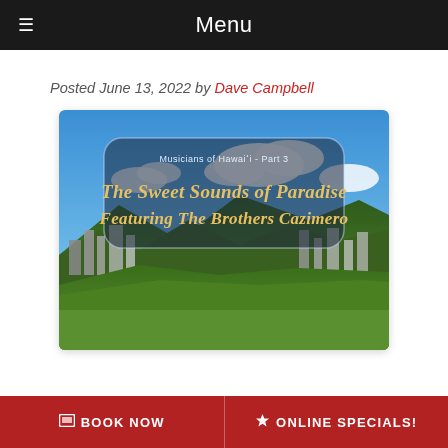Menu
Posted June 13, 2022 by Dave Campbell
[Figure (illustration): Scenic aerial view of Honolulu, Hawaii with mountains in background, overlaid with a rounded rectangle text box. Small text reads 'Musicians of Hawaii - Part 3'. Large stylized script text reads 'The Sweet Sounds of Paradise Featuring The Brothers Cazimero'.]
BOOK NOW   ONLINE SPECIALS!